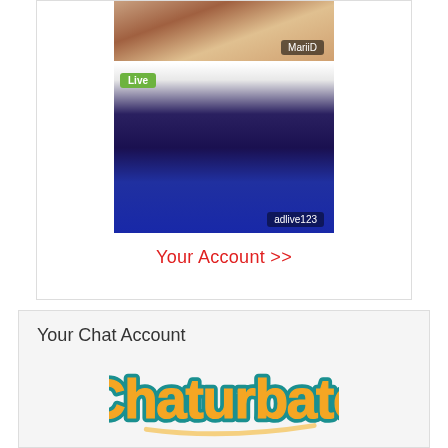[Figure (photo): Thumbnail image of user MariiD with name label overlay]
[Figure (photo): Thumbnail image of user adlive123 with Live badge, person in blue outfit]
Your Account >>
Your Chat Account
[Figure (logo): Chaturbate logo in orange and teal script lettering with underline swash]